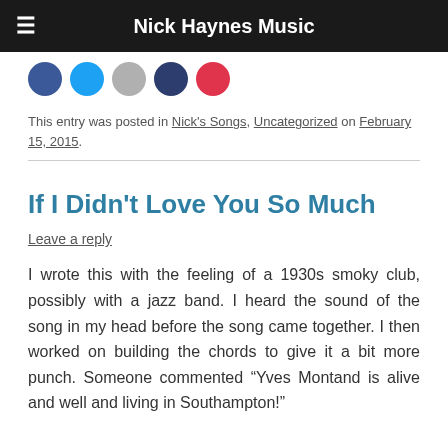Nick Haynes Music
[Figure (illustration): Row of five social media icon circles: Facebook (blue), Twitter (light blue), email (grey), Pocket (dark blue), Pinterest (red)]
This entry was posted in Nick's Songs, Uncategorized on February 15, 2015.
If I Didn't Love You So Much
Leave a reply
I wrote this with the feeling of a 1930s smoky club, possibly with a jazz band. I heard the sound of the song in my head before the song came together. I then worked on building the chords to give it a bit more punch. Someone commented "Yves Montand is alive and well and living in Southampton!"